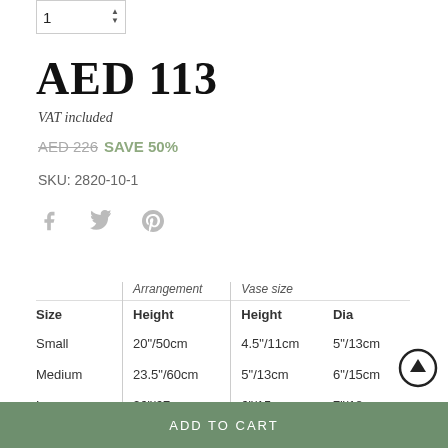1
AED 113
VAT included
AED 226 SAVE 50%
SKU: 2820-10-1
[Figure (other): Social share icons: Facebook, Twitter, Pinterest]
| Size | Arrangement Height | Vase size Height | Dia |
| --- | --- | --- | --- |
| Small | 20"/50cm | 4.5"/11cm | 5"/13cm |
| Medium | 23.5"/60cm | 5"/13cm | 6"/15cm |
| Large | 26"/67cm | 6"/15cm | 7"/18cm |
ADD TO CART